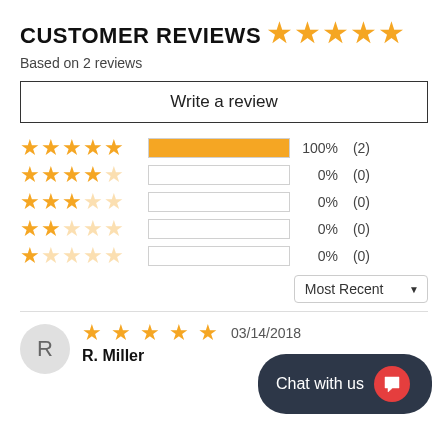CUSTOMER REVIEWS
[Figure (other): 5 filled gold stars (large)]
Based on 2 reviews
Write a review
| Stars | Bar | Percent | Count |
| --- | --- | --- | --- |
| 5 stars | 100% filled | 100% | (2) |
| 4 stars | 0% filled | 0% | (0) |
| 3 stars | 0% filled | 0% | (0) |
| 2 stars | 0% filled | 0% | (0) |
| 1 star | 0% filled | 0% | (0) |
Most Recent
R. Miller
03/14/2018
Chat with us